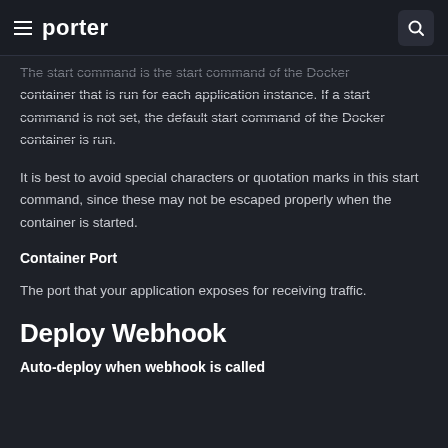porter
The start command is the start command of the Docker container that is run for each application instance. If a start command is not set, the default start command of the Docker container is run.
It is best to avoid special characters or quotation marks in this start command, since these may not be escaped properly when the container is started.
Container Port
The port that your application exposes for receiving traffic.
Deploy Webhook
Auto-deploy when webhook is called